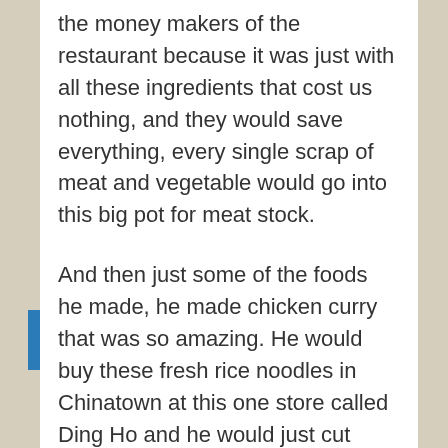the money makers of the restaurant because it was just with all these ingredients that cost us nothing, and they would save everything, every single scrap of meat and vegetable would go into this big pot for meat stock.
And then just some of the foods he made, he made chicken curry that was so amazing. He would buy these fresh rice noodles in Chinatown at this one store called Ding Ho and he would just cut them up, and he would make this sauce with fish sauce and lime and just toss it with tons of herbs, and it was like I had never eaten that kind of food, that's so fresh and just so fast